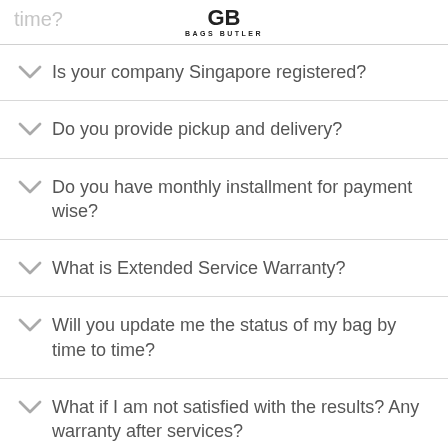BAGS BUTLER
Is your company Singapore registered?
Do you provide pickup and delivery?
Do you have monthly installment for payment wise?
What is Extended Service Warranty?
Will you update me the status of my bag by time to time?
What if I am not satisfied with the results? Any warranty after services?
What is your compensation plan?